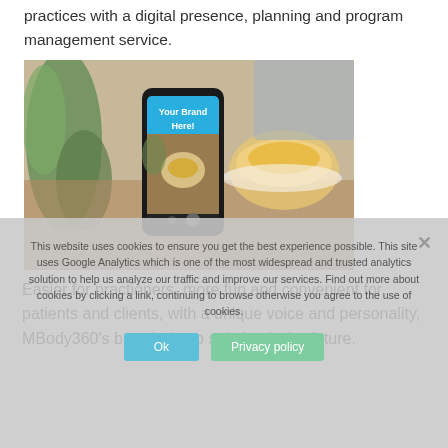practices with a digital presence, planning and program management service.
[Figure (photo): A hand holding a smartphone with 'Your Brand Here!' shown on the phone screen, with food and a bowl visible in the background on a wooden table with greenery.]
Easier for practioners, more fun and convenient for patients and clients, with a unique voice and personality, MBody360’s branded app solution is the future.
This website uses cookies to ensure you get the best experience possible. This site uses Google Analytics which is one of the most widespread and trusted analytics solution to help us analyze our traffic and improve our services. Find out more about cookies by clicking a link, continuing to browse otherwise you agree to the use of cookies.